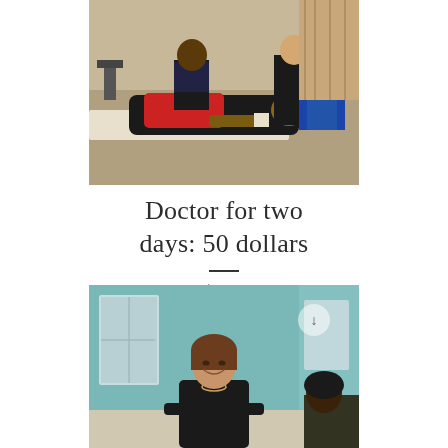[Figure (photo): A person in a red shirt lying on a table while someone attends to them in an outdoor setting with a blue chair visible in the background.]
Doctor for two days: 50 dollars
C$50.00
[Figure (photo): A smiling woman in a black top leaning over a table, with other people visible around her in what appears to be an indoor setting with teal walls.]